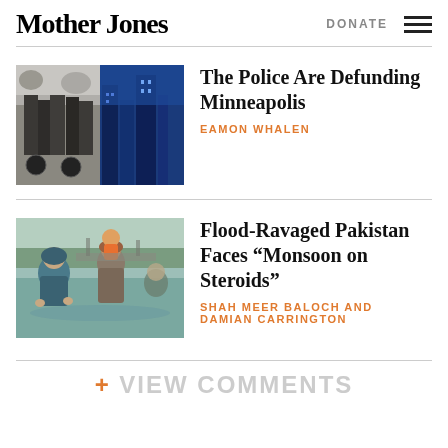Mother Jones
DONATE
[Figure (photo): Two images side by side: left is a black-and-white photo of police officers on motorcycles, right is a blue-tinted photo of city buildings.]
The Police Are Defunding Minneapolis
EAMON WHALEN
[Figure (photo): Flood scene in Pakistan: people wading through flood water, including a man carrying a child and a woman in a blue headscarf.]
Flood-Ravaged Pakistan Faces “Monsoon on Steroids”
SHAH MEER BALOCH AND DAMIAN CARRINGTON
+ VIEW COMMENTS